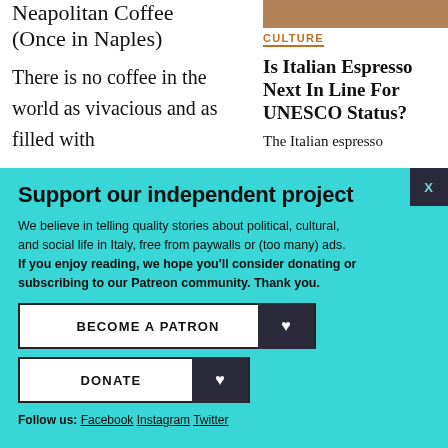Neapolitan Coffee (Once in Naples)
There is no coffee in the world as vivacious and as filled with
[Figure (photo): Partial photo visible at top right]
CULTURE
Is Italian Espresso Next In Line For UNESCO Status?
The Italian espresso
Support our independent project
We believe in telling quality stories about political, cultural, and social life in Italy, free from paywalls or (too many) ads. If you enjoy reading, we hope you'll consider donating or subscribing to our Patreon community. Thank you.
BECOME A PATRON
DONATE
Follow us: Facebook Instagram Twitter